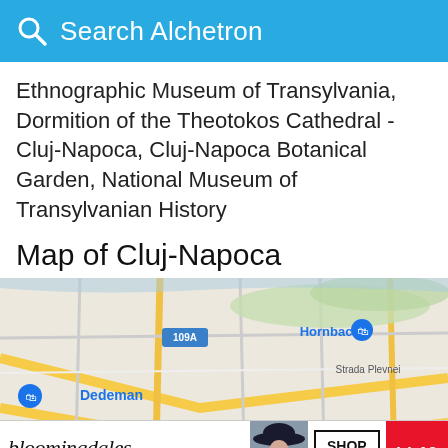Search Alchetron
Ethnographic Museum of Transylvania, Dormition of the Theotokos Cathedral - Cluj-Napoca, Cluj-Napoca Botanical Garden, National Museum of Transylvanian History
Map of Cluj-Napoca
[Figure (map): Street map of Cluj-Napoca showing landmarks including Hornbach, Dedeman, Strada Plevnei, Mărăști district, E81, 109A road labels, and transit icons]
[Figure (screenshot): Bloomingdale's advertisement banner: 'View Today's Top Deals!' with SHOP NOW button and id-19 badge]